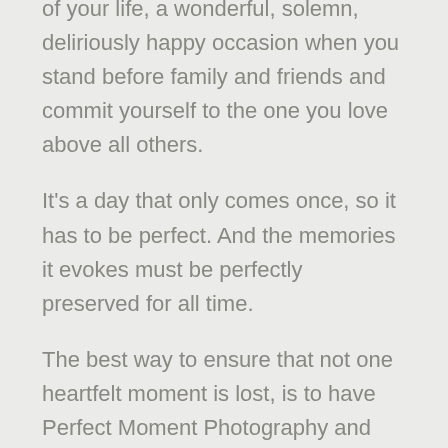of your life, a wonderful, solemn, deliriously happy occasion when you stand before family and friends and commit yourself to the one you love above all others.
It's a day that only comes once, so it has to be perfect. And the memories it evokes must be perfectly preserved for all time.
The best way to ensure that not one heartfelt moment is lost, is to have Perfect Moment Photography and Video capture your special day.
See Our Affordable Pricing!